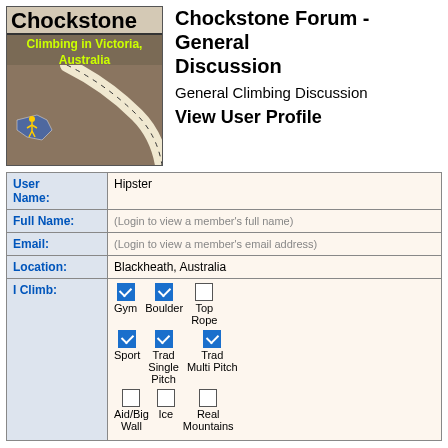[Figure (logo): Chockstone logo - climbing rope photo with text 'Chockstone' and 'Climbing in Victoria, Australia' with Australia map]
Chockstone Forum - General Discussion
General Climbing Discussion
View User Profile
| Field | Value |
| --- | --- |
| User Name: | Hipster |
| Full Name: | (Login to view a member's full name) |
| Email: | (Login to view a member's email address) |
| Location: | Blackheath, Australia |
| I Climb: | Gym ✓, Boulder ✓, Top Rope ☐, Sport ✓, Trad Single Pitch ✓, Trad Multi Pitch ✓, Aid/Big Wall ☐, Ice ☐, Real Mountains ☐ |